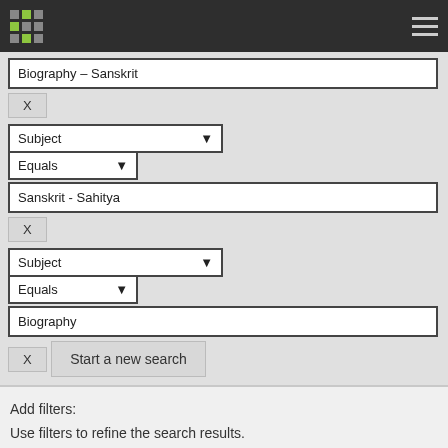Navigation header bar with logo and menu
Biography – Sanskrit
X
Subject | Equals
Sanskrit  - Sahitya
X
Subject | Equals
Biography
X
Start a new search
Add filters:
Use filters to refine the search results.
Title